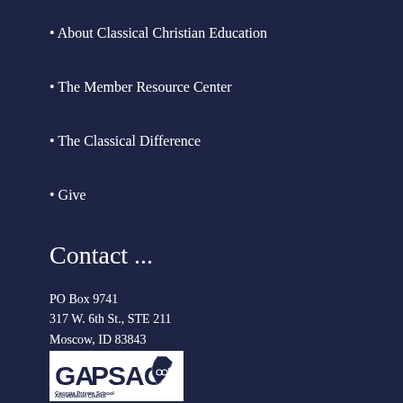• About Classical Christian Education
• The Member Resource Center
• The Classical Difference
• Give
Contact ...
PO Box 9741
317 W. 6th St., STE 211
Moscow, ID 83843
P: 208-882-6101
info@accsedu.org
[Figure (logo): GAPSAC - Georgia Private School Accreditation Council logo]